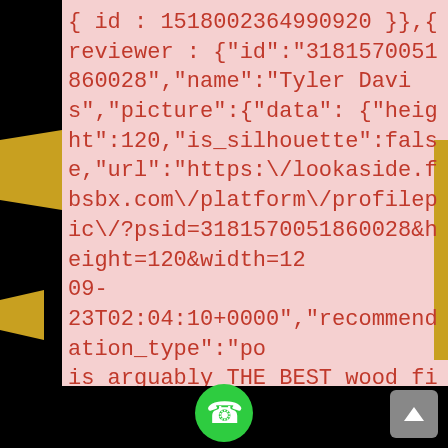{ id : 1518002364990920 }},{ reviewer : {"id":"3181570051860028","name":"Tyler Davis","picture":{"data": {"height":120,"is_silhouette":false,"url":"https:\/\/lookaside.fbsbx.com\/platform\/profilepic\/?psid=3181570051860028&height=120&width=120...09-23T02:04:10+0000","recommendation_type":"po... is arguably THE BEST wood fire pizza around! We are very selective as to vendors we include with Live After 5 and they have never disappointed! A MUST try for any pizza Lovers!","open_graph_story": {"id":"10158445017907814"}},{"reviewer": {"id":"37172226582....","name":"Alexandra Wakefield","picture":{"data": {"height":120,"is_silhouette":false,"url":"https...